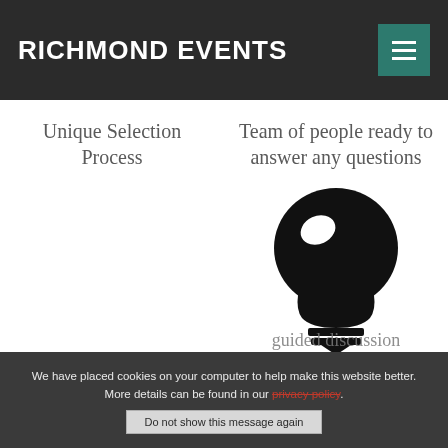RICHMOND EVENTS
Unique Selection Process
Team of people ready to answer any questions
[Figure (illustration): Black silhouette lightbulb icon with white highlight on bulb, base with horizontal lines]
guided discussion
We have placed cookies on your computer to help make this website better. More details can be found in our privacy policy.
Do not show this message again